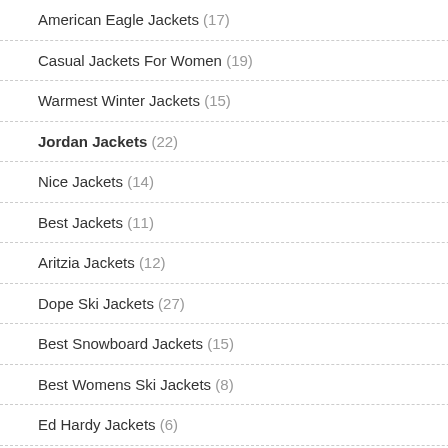American Eagle Jackets (17)
Casual Jackets For Women (19)
Warmest Winter Jackets (15)
Jordan Jackets (22)
Nice Jackets (14)
Best Jackets (11)
Aritzia Jackets (12)
Dope Ski Jackets (27)
Best Snowboard Jackets (15)
Best Womens Ski Jackets (8)
Ed Hardy Jackets (6)
Angel Jackets (4)
Petite Jackets (25)
Best Women'S Ski Jackets (9)
Superdry Jackets (27)
Best Jackets For Men (12)